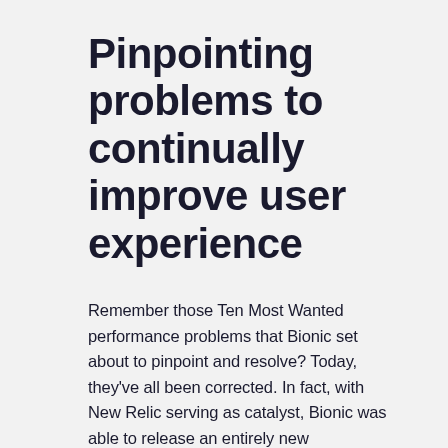Pinpointing problems to continually improve user experience
Remember those Ten Most Wanted performance problems that Bionic set about to pinpoint and resolve? Today, they've all been corrected. In fact, with New Relic serving as catalyst, Bionic was able to release an entirely new